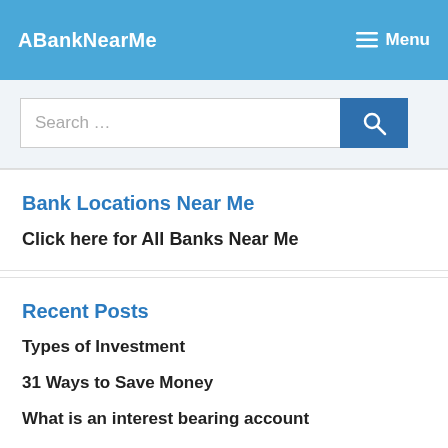ABankNearMe  Menu
Search …
Bank Locations Near Me
Click here for All Banks Near Me
Recent Posts
Types of Investment
31 Ways to Save Money
What is an interest bearing account